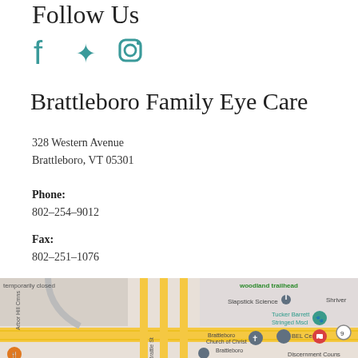Follow Us
[Figure (illustration): Social media icons: Facebook, Yelp, and Instagram in teal color]
Brattleboro Family Eye Care
328 Western Avenue
Brattleboro, VT 05301
Phone:
802-254-9012
Fax:
802-251-1076
[Figure (map): Google Maps screenshot showing the location of Brattleboro Family Eye Care at 328 Western Avenue, Brattleboro, VT. Nearby landmarks include Slapstick Science, Tucker Barrett Stringed Mscl, Brattleboro Church of Christ, BEL Center, and Discernment Counsel. Text also shows 'temporarily closed', 'woodland trailhead', 'Arbor Hill Cmns', 'Brattle St', 'Shriver', and route 9.]